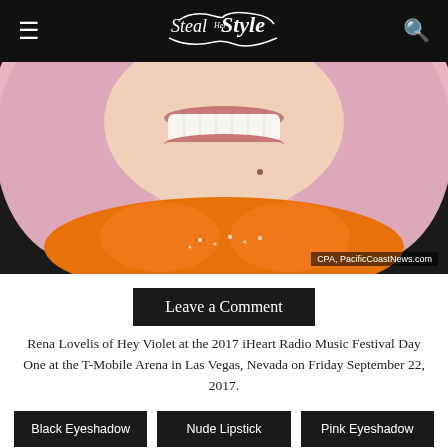Steal Her Style
[Figure (photo): Close-up photo of Rena Lovelis with pink hair and an orange sparkly top, smiling. Photo credit: CPA, PacificCoastNews.com]
Leave a Comment
Rena Lovelis of Hey Violet at the 2017 iHeart Radio Music Festival Day One at the T-Mobile Arena in Las Vegas, Nevada on Friday September 22, 2017.
Black Eyeshadow
Nude Lipstick
Pink Eyeshadow